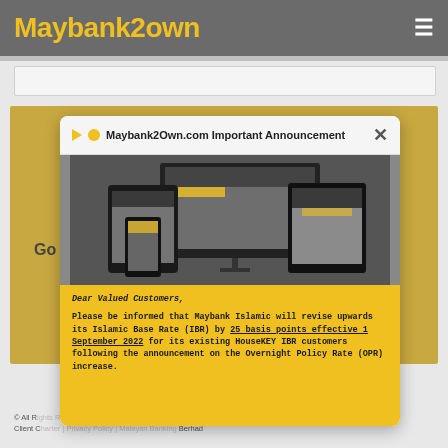Maybank2own
[Figure (screenshot): Maybank2Own website screenshot showing a modal popup with title 'Maybank2Own.com Important Announcement', displaying device mockups (desktop, tablet, mobile) and a yellow announcement section with text about Islamic Base Rate increase by 25 basis points effective 1 September 2022 for HouseKEY IBR customers following OPR increase.]
Dear Valued Customers,
Please be informed that Maybank Islamic will revise upwards its Islamic Base Rate (IBR) by 25 basis points effective 1 September 2022 for its existing HouseKEY IBR customers following the announcement on the Overnight Policy Rate (OPR) increase.
© All R... y & Client C... Berhad (C...